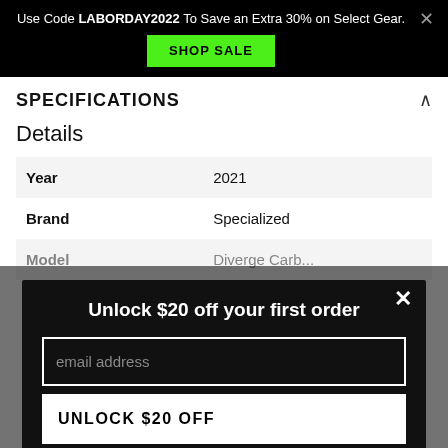Use Code LABORDAY2022 To Save an Extra 30% on Select Gear.
SPECIFICATIONS
Details
|  |  |
| --- | --- |
| Year | 2021 |
| Brand | Specialized |
| Model | Diverge Carb... |
Unlock $20 off your first order
email address
UNLOCK $20 OFF
*Valid for one-time use on new accounts